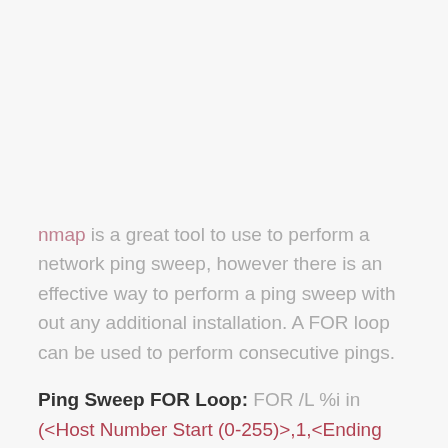nmap is a great tool to use to perform a network ping sweep, however there is an effective way to perform a ping sweep with out any additional installation. A FOR loop can be used to perform consecutive pings.
Ping Sweep FOR Loop: FOR /L %i in (<Host Number Start (0-255)>,1,<Ending Host Number (0-255)>) do @ping -n 1